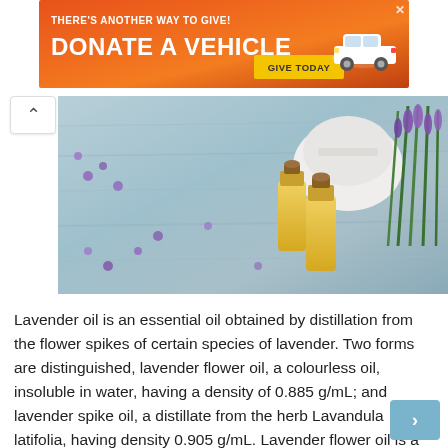[Figure (screenshot): Orange advertisement banner: 'THERE'S ANOTHER WAY TO GIVE! DONATE A VEHICLE GIVE TODAY' with a white car image on the right]
[Figure (photo): Photo of lavender essential oil bottles on a rustic wooden surface with lavender flowers and a white mortar and pestle in the background]
Lavender oil is an essential oil obtained by distillation from the flower spikes of certain species of lavender. Two forms are distinguished, lavender flower oil, a colourless oil, insoluble in water, having a density of 0.885 g/mL; and lavender spike oil, a distillate from the herb Lavandula latifolia, having density 0.905 g/mL. Lavender flower oil is a designation of the National Formulary and the British Pharmacopoeia. Like all essential oils, it is not a pure compound; it is a complex mixture of naturally occurring phytochemicals, including linalool and linalyl acetate.